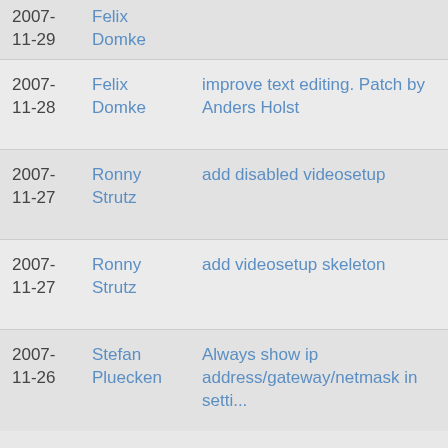2007-11-29 Felix Domke
2007-11-28 Felix Domke improve text editing. Patch by Anders Holst
2007-11-27 Ronny Strutz add disabled videosetup
2007-11-27 Ronny Strutz add videosetup skeleton
2007-11-26 Stefan Pluecken Always show ip address/gateway/netmask in setti...